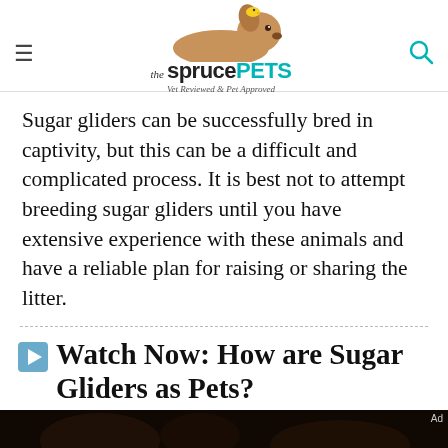the spruce PETS — Vet Reviewed & Pet Approved
Sugar gliders can be successfully bred in captivity, but this can be a difficult and complicated process. It is best not to attempt breeding sugar gliders until you have extensive experience with these animals and have a reliable plan for raising or sharing the litter.
Watch Now: How are Sugar Gliders as Pets?
[Figure (screenshot): Video thumbnail showing sugar gliders in a dark setting]
[Figure (logo): Dotdash Meredith advertisement bar with tagline: We help people find answers, solve problems and get inspired.]